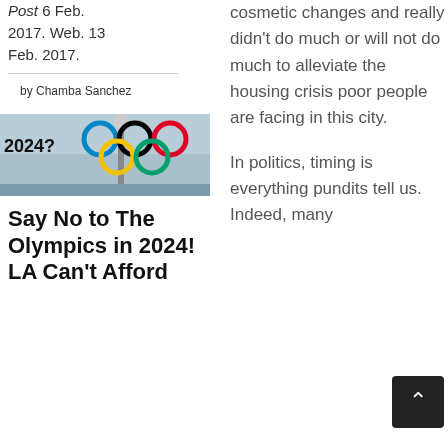Post 6 Feb. 2017. Web. 13 Feb. 2017.
by Chamba Sanchez
[Figure (photo): Image showing '2024?' text with Olympic rings and a torch against a grey sky background]
Say No to The Olympics in 2024! LA Can't Afford
cosmetic changes and really didn't do much or will not do much to alleviate the housing crisis poor people are facing in this city.
In politics, timing is everything pundits tell us. Indeed, many